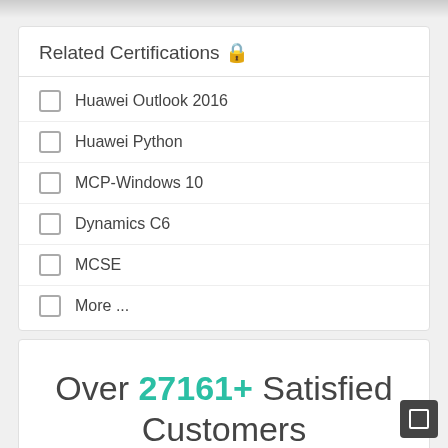Related Certifications 🔒
Huawei Outlook 2016
Huawei Python
MCP-Windows 10
Dynamics C6
MCSE
More ...
Over 27161+ Satisfied Customers